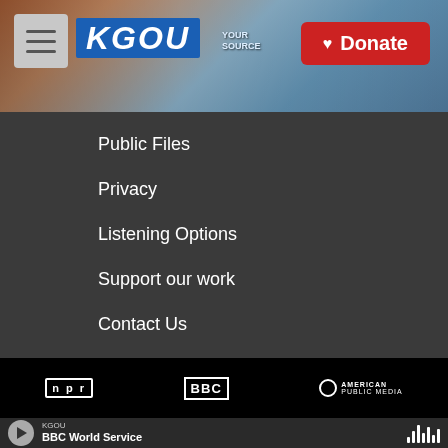[Figure (screenshot): KGOU radio station website header with logo, menu button, city background image, and red Donate button]
Public Files
Privacy
Listening Options
Support our work
Contact Us
[Figure (logo): NPR, BBC, and American Public Media logos in footer]
KGOU BBC World Service